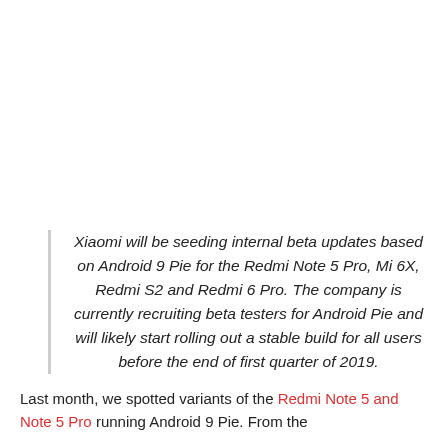Xiaomi will be seeding internal beta updates based on Android 9 Pie for the Redmi Note 5 Pro, Mi 6X, Redmi S2 and Redmi 6 Pro. The company is currently recruiting beta testers for Android Pie and will likely start rolling out a stable build for all users before the end of first quarter of 2019.
Last month, we spotted variants of the Redmi Note 5 and Note 5 Pro...